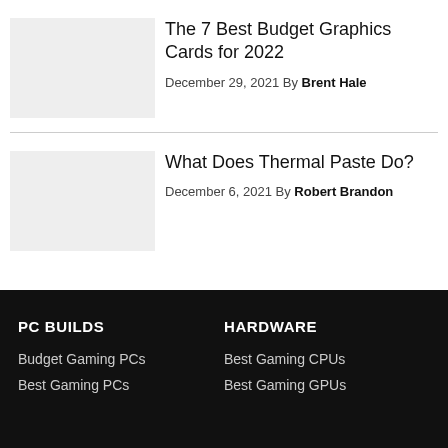The 7 Best Budget Graphics Cards for 2022
December 29, 2021 By Brent Hale
What Does Thermal Paste Do?
December 6, 2021 By Robert Brandon
PC BUILDS
Budget Gaming PCs
Best Gaming PCs
HARDWARE
Best Gaming CPUs
Best Gaming GPUs